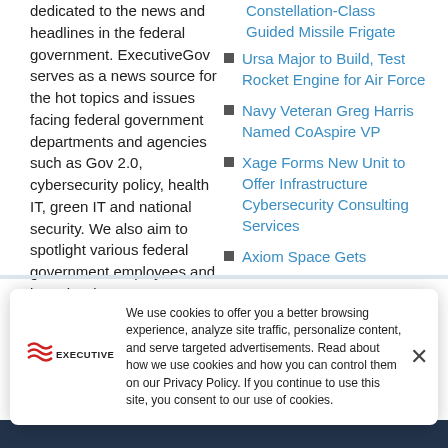dedicated to the news and headlines in the federal government. ExecutiveGov serves as a news source for the hot topics and issues facing federal government departments and agencies such as Gov 2.0, cybersecurity policy, health IT, green IT and national security. We also aim to spotlight various federal government employees and interview key government executives whose impact resonates beyond their agency.
Constellation-Class Guided Missile Frigate
Ursa Major to Build, Test Rocket Engine for Air Force
Navy Veteran Greg Harris Named CoAspire VP
Xage Forms New Unit to Offer Infrastructure Cybersecurity Consulting Services
Axiom Space Gets Mission Order Review...
We use cookies to offer you a better browsing experience, analyze site traffic, personalize content, and serve targeted advertisements. Read about how we use cookies and how you can control them on our Privacy Policy. If you continue to use this site, you consent to our use of cookies.
[Figure (logo): ExecutiveGov logo with red wave lines and text EXECUTIVEGOV]